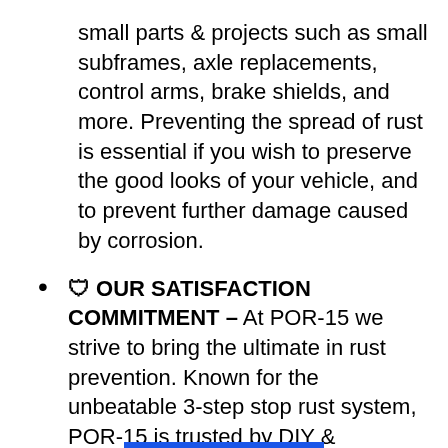small parts & projects such as small subframes, axle replacements, control arms, brake shields, and more. Preventing the spread of rust is essential if you wish to preserve the good looks of your vehicle, and to prevent further damage caused by corrosion.
🛡 OUR SATISFACTION COMMITMENT – At POR-15 we strive to bring the ultimate in rust prevention. Known for the unbeatable 3-step stop rust system, POR-15 is trusted by DIY & Professionals. We are committed to innovation, quality control, and excellent customer service.